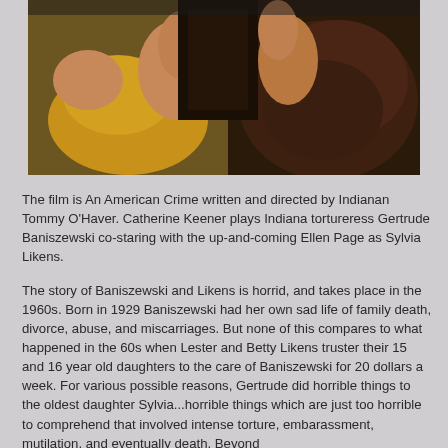[Figure (photo): Two people in a dramatic scene; one person wearing a yellow sleeveless top, the other in dark patterned clothing, appearing to be from a film still.]
The film is An American Crime written and directed by Indianan Tommy O'Haver. Catherine Keener plays Indiana tortureress Gertrude Baniszewski co-staring with the up-and-coming Ellen Page as Sylvia Likens.
The story of Baniszewski and Likens is horrid, and takes place in the 1960s. Born in 1929 Baniszewski had her own sad life of family death, divorce, abuse, and miscarriages. But none of this compares to what happened in the 60s when Lester and Betty Likens truster their 15 and 16 year old daughters to the care of Baniszewski for 20 dollars a week. For various possible reasons, Gertrude did horrible things to the oldest daughter Sylvia...horrible things which are just too horrible to comprehend that involved intense torture, embarassment, mutilation, and eventually death. Beyond